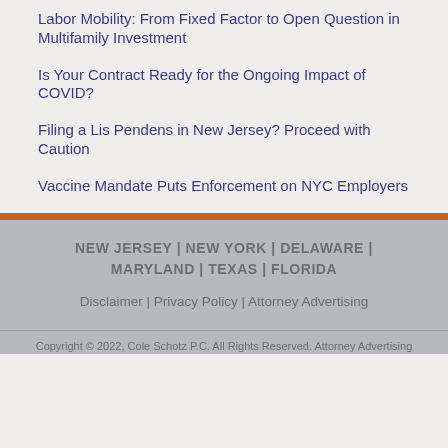Labor Mobility: From Fixed Factor to Open Question in Multifamily Investment
Is Your Contract Ready for the Ongoing Impact of COVID?
Filing a Lis Pendens in New Jersey? Proceed with Caution
Vaccine Mandate Puts Enforcement on NYC Employers
NEW JERSEY | NEW YORK | DELAWARE | MARYLAND | TEXAS | FLORIDA
Disclaimer | Privacy Policy | Attorney Advertising
Copyright © 2022, Cole Schotz P.C. All Rights Reserved. Attorney Advertising